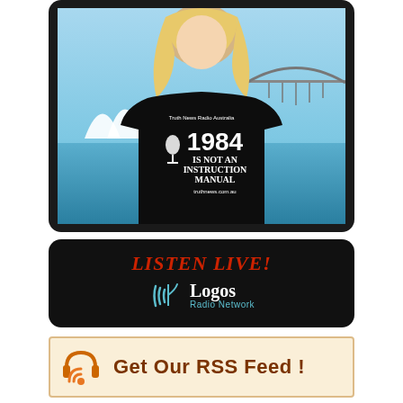[Figure (photo): Blonde woman wearing a black T-shirt that reads 'Truth News Radio Australia / 1984 / IS NOT AN / INSTRUCTION / MANUAL / truthnews.com.au', standing in front of Sydney Opera House and Harbour Bridge with blue sky and water in background. Photo is framed in a dark rounded rectangle.]
[Figure (logo): Dark rounded rectangle banner with 'LISTEN LIVE!' text in red italic serif font, and below it the Logos Radio Network logo: a stylized antenna/signal icon in teal with 'Logos Radio Network' text in white and teal.]
[Figure (infographic): Light orange/cream banner with an orange headphones + RSS feed icon on the left and bold dark orange text 'Get Our RSS Feed !' on the right.]